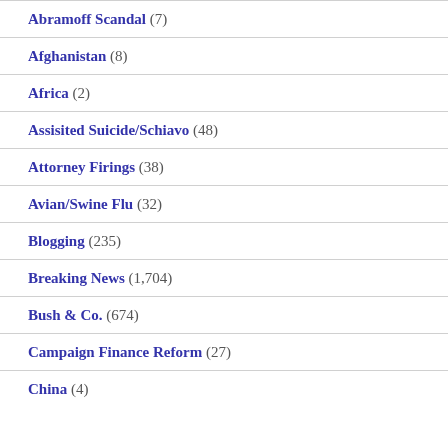Abramoff Scandal (7)
Afghanistan (8)
Africa (2)
Assisited Suicide/Schiavo (48)
Attorney Firings (38)
Avian/Swine Flu (32)
Blogging (235)
Breaking News (1,704)
Bush & Co. (674)
Campaign Finance Reform (27)
China (4)